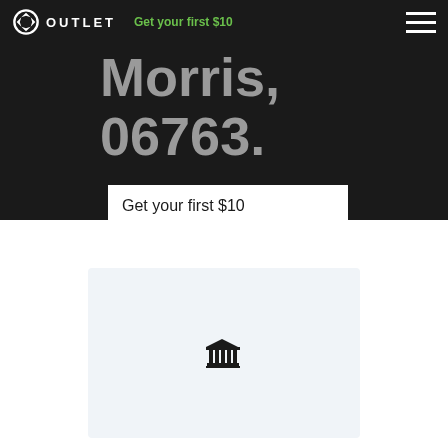OUTLET | Get your first $10
Morris, 06763.
Get your first $10
[Figure (illustration): Bank/institution icon on light gray card background]